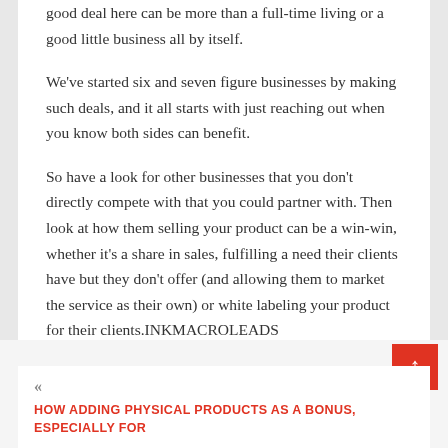good deal here can be more than a full-time living or a good little business all by itself.
We've started six and seven figure businesses by making such deals, and it all starts with just reaching out when you know both sides can benefit.
So have a look for other businesses that you don't directly compete with that you could partner with. Then look at how them selling your product can be a win-win, whether it's a share in sales, fulfilling a need their clients have but they don't offer (and allowing them to market the service as their own) or white labeling your product for their clients.INKMACROLEADS
HOW ADDING PHYSICAL PRODUCTS AS A BONUS, ESPECIALLY FOR